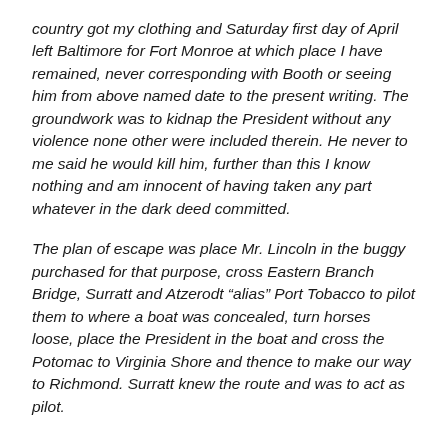country got my clothing and Saturday first day of April left Baltimore for Fort Monroe at which place I have remained, never corresponding with Booth or seeing him from above named date to the present writing. The groundwork was to kidnap the President without any violence none other were included therein. He never to me said he would kill him, further than this I know nothing and am innocent of having taken any part whatever in the dark deed committed.
The plan of escape was place Mr. Lincoln in the buggy purchased for that purpose, cross Eastern Branch Bridge, Surratt and Atzerodt “alias” Port Tobacco to pilot them to where a boat was concealed, turn horses loose, place the President in the boat and cross the Potomac to Virginia Shore and thence to make our way to Richmond. Surratt knew the route and was to act as pilot.